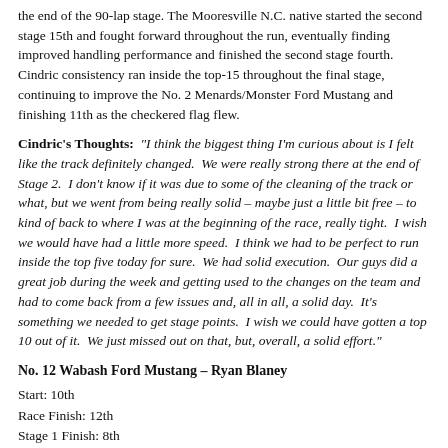the end of the 90-lap stage. The Mooresville N.C. native started the second stage 15th and fought forward throughout the run, eventually finding improved handling performance and finished the second stage fourth. Cindric consistency ran inside the top-15 throughout the final stage, continuing to improve the No. 2 Menards/Monster Ford Mustang and finishing 11th as the checkered flag flew.
Cindric's Thoughts: "I think the biggest thing I'm curious about is I felt like the track definitely changed. We were really strong there at the end of Stage 2. I don't know if it was due to some of the cleaning of the track or what, but we went from being really solid – maybe just a little bit free – to kind of back to where I was at the beginning of the race, really tight. I wish we would have had a little more speed. I think we had to be perfect to run inside the top five today for sure. We had solid execution. Our guys did a great job during the week and getting used to the changes on the team and had to come back from a few issues and, all in all, a solid day. It's something we needed to get stage points. I wish we could have gotten a top 10 out of it. We just missed out on that, but, overall, a solid effort."
No. 12 Wabash Ford Mustang – Ryan Blaney
Start: 10th
Race Finish: 12th
Stage 1 Finish: 8th